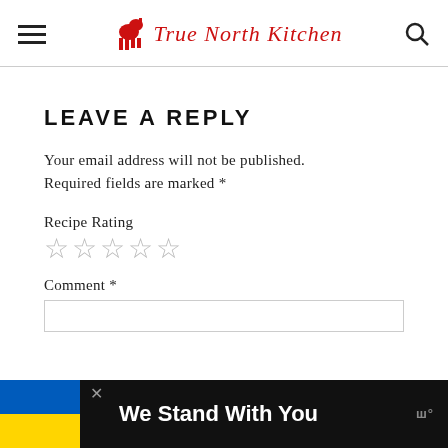True North Kitchen
LEAVE A REPLY
Your email address will not be published. Required fields are marked *
Recipe Rating
☆☆☆☆☆
Comment *
We Stand With You